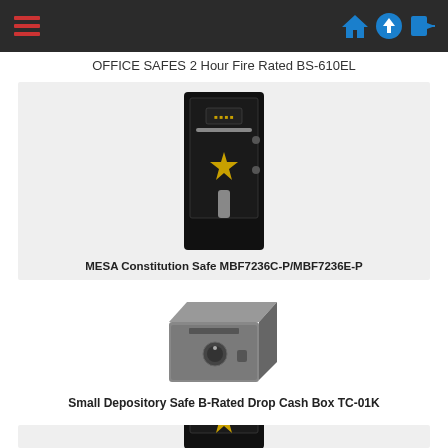OFFICE SAFES 2 Hour Fire Rated BS-610EL
[Figure (photo): MESA Constitution Safe MBF7236C-P/MBF7236E-P — tall black gun safe with combination dial and gold star emblem]
MESA Constitution Safe MBF7236C-P/MBF7236E-P
[Figure (photo): Small Depository Safe B-Rated Drop Cash Box TC-01K — grey metal box safe with combination lock]
Small Depository Safe B-Rated Drop Cash Box TC-01K
[Figure (photo): Another tall black safe (partially visible at bottom of page)]